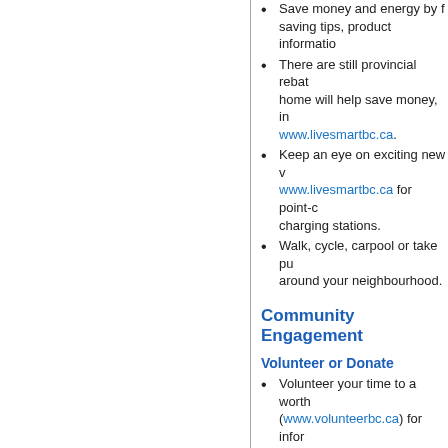Save money and energy by following energy saving tips, product information...
There are still provincial rebates... home will help save money, in... www.livesmartbc.ca.
Keep an eye on exciting new... www.livesmartbc.ca for point-... charging stations.
Walk, cycle, carpool or take pu... around your neighbourhood.
Community Engagement
Volunteer or Donate
Volunteer your time to a worth... (www.volunteerbc.ca) for infor...
Donate money, food, clothes o...
Lend a helping hand to your n...
Consumption & Waste
Reduce, Reuse and Recycle
Buy products that use minima...
Compost your yard waste and...
Find out where you can safely...
Check with the Recycling Cou...